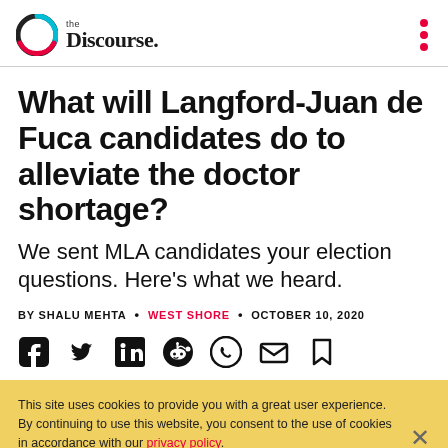the Discourse.
What will Langford-Juan de Fuca candidates do to alleviate the doctor shortage?
We sent MLA candidates your election questions. Here's what we heard.
BY SHALU MEHTA • WEST SHORE • OCTOBER 10, 2020
[Figure (other): Social share icons: Facebook, Twitter, LinkedIn, Reddit, WhatsApp, Email, Bookmark]
This site uses cookies to provide you with a great user experience. By continuing to use this website, you consent to the use of cookies in accordance with our privacy policy.